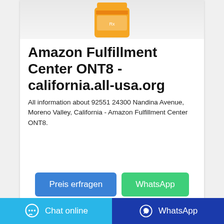[Figure (photo): Partial view of an orange pill bottle product photo at the top of the card]
Amazon Fulfillment Center ONT8 - california.all-usa.org
All information about 92551 24300 Nandina Avenue, Moreno Valley, California - Amazon Fulfillment Center ONT8.
[Figure (other): Blue 'Preis erfragen' button and green 'WhatsApp' button]
[Figure (other): Bottom bar with cyan 'Chat online' button (chat icon) and dark blue 'WhatsApp' button (WhatsApp icon)]